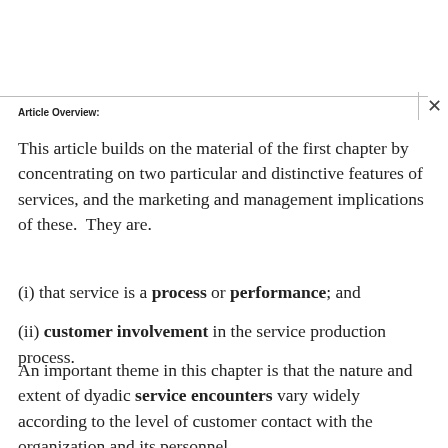Article Overview:
This article builds on the material of the first chapter by concentrating on two particular and distinctive features of services, and the marketing and management implications of these.  They are.
(i) that service is a process or performance; and
(ii) customer involvement in the service production process.
An important theme in this chapter is that the nature and extent of dyadic service encounters vary widely according to the level of customer contact with the organization and its personnel.